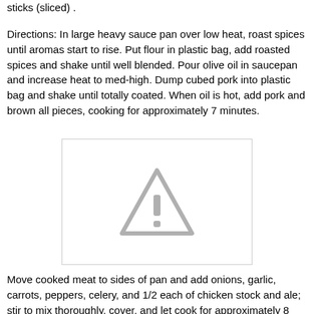sticks (sliced) .
Directions: In large heavy sauce pan over low heat, roast spices until aromas start to rise. Put flour in plastic bag, add roasted spices and shake until well blended. Pour olive oil in saucepan and increase heat to med-high. Dump cubed pork into plastic bag and shake until totally coated. When oil is hot, add pork and brown all pieces, cooking for approximately 7 minutes.
[Figure (photo): Placeholder image with a warning/image-missing triangle icon in gray on a white background with a light gray border.]
Move cooked meat to sides of pan and add onions, garlic, carrots, peppers, celery, and 1/2 each of chicken stock and ale; stir to mix thoroughly, cover, and let cook for approximately 8 minutes. Remove cover and add tomatoes